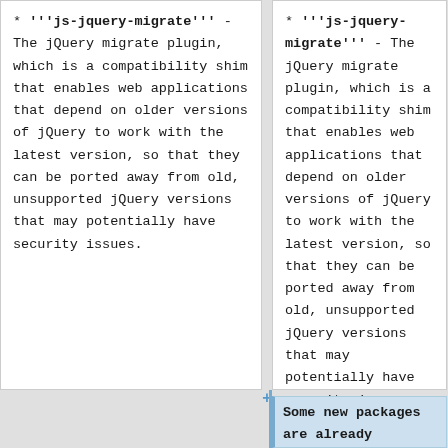* '''js-jquery-migrate''' - The jQuery migrate plugin, which is a compatibility shim that enables web applications that depend on older versions of jQuery to work with the latest version, so that they can be ported away from old, unsupported jQuery versions that may potentially have security issues.
* '''js-jquery-migrate''' - The jQuery migrate plugin, which is a compatibility shim that enables web applications that depend on older versions of jQuery to work with the latest version, so that they can be ported away from old, unsupported jQuery versions that may potentially have security issues.
Some new packages are already beginning to use the system version